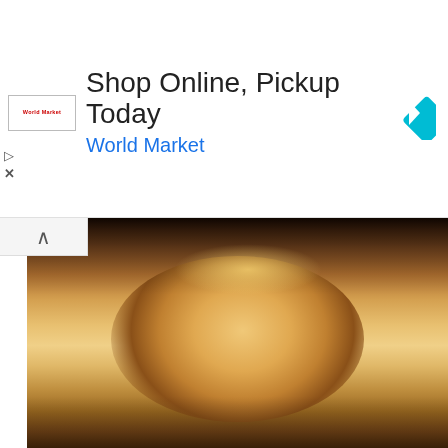[Figure (infographic): Advertisement banner: Shop Online, Pickup Today - World Market, with logo and navigation arrow icon]
[Figure (photo): Close-up photo of a person's face, blurry/low resolution]
Side Chick Berates Sugar Daddy's Wife For Calling Her To Leave Him (Video)
[Figure (photo): Thumbnail strip showing two video thumbnails]
ADVERTISEMENT
[Figure (infographic): Advertisement banner: Extra 60% Off All Clearance - Torrid, with logo and navigation arrow icon]